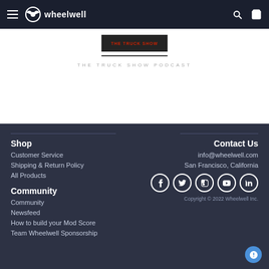wheelwell navigation header with hamburger menu, logo, search and cart icons
THE TRUCK SHOW PODCAST
Shop
Customer Service
Shipping & Return Policy
All Products
Contact Us
info@wheelwell.com
San Francisco, California
Community
Community
Newsfeed
How to build your Mod Score
Team Wheelwell Sponsorship
Copyright © 2022 Wheelwell Inc.